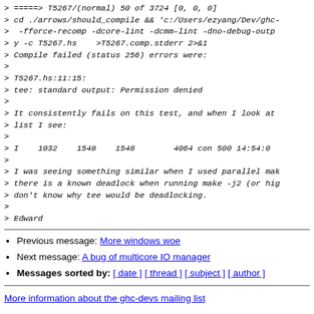> =====> T5267/(normal) 50 of 3724 [0, 0, 0]
> cd ./arrows/should_compile && 'c:/Users/ezyang/Dev/ghc-
>  -fforce-recomp -dcore-lint -dcmm-lint -dno-debug-outp
> y -c T5267.hs    >T5267.comp.stderr 2>&1
> Compile failed (status 256) errors were:
>
> T5267.hs:11:15:
> tee: standard output: Permission denied
>
> It consistently fails on this test, and when I look at
> list I see:
>
> I    1032    1548    1548        4064 con 500 14:54:0
>
> I was seeing something similar when I used parallel mak
> there is a known deadlock when running make -j2 (or hig
> don't know why tee would be deadlocking.
>
> Edward
Previous message: More windows woe
Next message: A bug of multicore IO manager
Messages sorted by: [ date ] [ thread ] [ subject ] [ author ]
More information about the ghc-devs mailing list